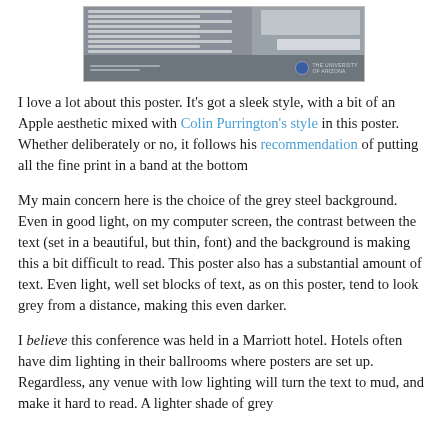[Figure (screenshot): Screenshot of a University of Arizona academic poster with grey steel background, showing text columns on left and a table/figure on the right, with a dark footer band at the bottom containing logos and the University of Arizona branding.]
I love a lot about this poster. It's got a sleek style, with a bit of an Apple aesthetic mixed with Colin Purrington's style in this poster. Whether deliberately or no, it follows his recommendation of putting all the fine print in a band at the bottom
My main concern here is the choice of the grey steel background. Even in good light, on my computer screen, the contrast between the text (set in a beautiful, but thin, font) and the background is making this a bit difficult to read. This poster also has a substantial amount of text. Even light, well set blocks of text, as on this poster, tend to look grey from a distance, making this even darker.
I believe this conference was held in a Marriott hotel. Hotels often have dim lighting in their ballrooms where posters are set up. Regardless, any venue with low lighting will turn the text to mud, and make it hard to read. A lighter shade of grey